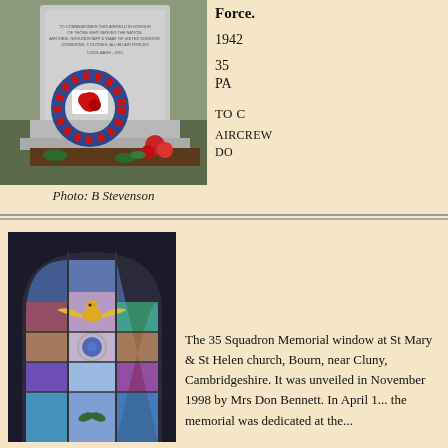[Figure (photo): Memorial stone with poppy wreath at an airfield, flowers placed at the base. The stone bears an inscription commemorating those who served.]
Photo: B Stevenson
Force.
1942
35
PA
TO C
AIRCREW
DO
[Figure (photo): Stained glass window featuring a golden eagle or bird with spread wings above a circular emblem, set in a church window with blue, pink and coloured glass panes.]
The 35 Squadron Memorial window at St Mary & St Helen church, Bourn, near Cluny, Cambridgeshire. It was unveiled in November 1998 by Mrs Don Bennett. In April 1... the memorial was dedicated at the...